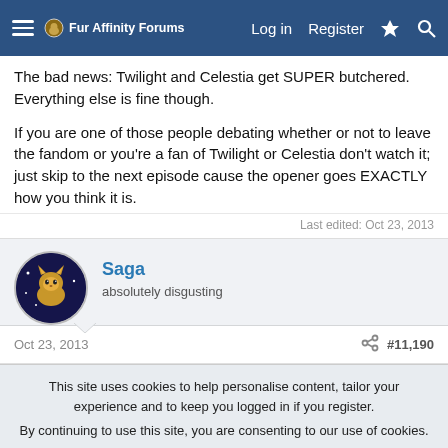Fur Affinity Forums — Log in   Register
The bad news: Twilight and Celestia get SUPER butchered. Everything else is fine though.

If you are one of those people debating whether or not to leave the fandom or you're a fan of Twilight or Celestia don't watch it; just skip to the next episode cause the opener goes EXACTLY how you think it is.
Last edited: Oct 23, 2013
Saga
absolutely disgusting
Oct 23, 2013   #11,190
This site uses cookies to help personalise content, tailor your experience and to keep you logged in if you register.
By continuing to use this site, you are consenting to our use of cookies.